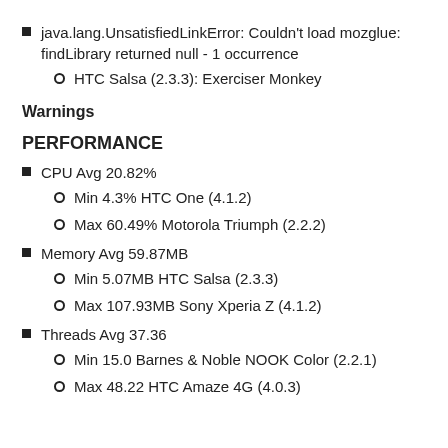java.lang.UnsatisfiedLinkError: Couldn't load mozglue: findLibrary returned null - 1 occurrence
HTC Salsa (2.3.3): Exerciser Monkey
Warnings
PERFORMANCE
CPU Avg 20.82%
Min 4.3% HTC One (4.1.2)
Max 60.49% Motorola Triumph (2.2.2)
Memory Avg 59.87MB
Min 5.07MB HTC Salsa (2.3.3)
Max 107.93MB Sony Xperia Z (4.1.2)
Threads Avg 37.36
Min 15.0 Barnes & Noble NOOK Color (2.2.1)
Max 48.22 HTC Amaze 4G (4.0.3)